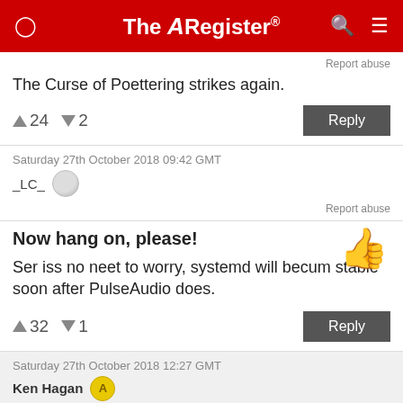The Register
Report abuse
The Curse of Poettering strikes again.
↑24  ↓2
Saturday 27th October 2018 09:42 GMT
_LC_
Report abuse
Now hang on, please!
Ser iss no neet to worry, systemd will becum stable soon after PulseAudio does.
↑32  ↓1
Saturday 27th October 2018 12:27 GMT
Ken Hagan
Report abuse